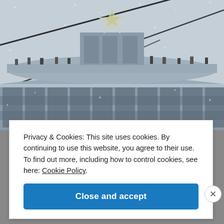[Figure (photo): Snowy scene of a large Soviet-style building top with a star decoration, birds perched on the roof, and power lines crossing the foreground in snowfall.]
Privacy & Cookies: This site uses cookies. By continuing to use this website, you agree to their use.
To find out more, including how to control cookies, see here: Cookie Policy.
Close and accept